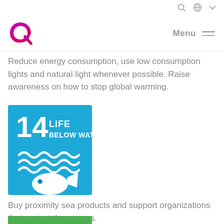Menu
[Figure (logo): Radici Group logo — stylized letter R in gradient purple to red]
Reduce energy consumption, use low consumption lights and natural light whenever possible. Raise awareness on how to stop global warming.
[Figure (illustration): SDG 14 Life Below Water badge — blue square with number 14, text LIFE BELOW WATER, waves and fish icon in white]
Buy proximity sea products and support organizations that protect the oceans.